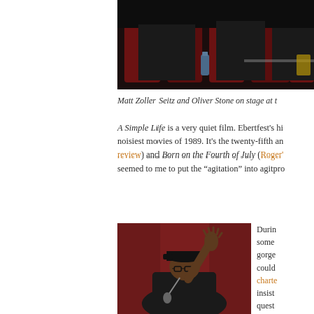[Figure (photo): Dark photo of people on stage with red curtain/chairs in background, water bottle visible]
Matt Zoller Seitz and Oliver Stone on stage at t
A Simple Life is a very quiet film. Ebertfest's hi noisiest movies of 1989. It's the twenty-fifth an review) and Born on the Fourth of July (Roger' seemed to me to put the "agitation" into agitpro
[Figure (photo): Man with raised hand holding microphone, wearing dark jacket and cap, red curtain background]
Durin some gorge could charte insist quest